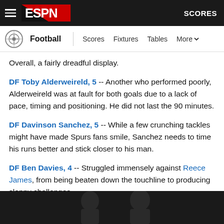ESPN — Football | Scores | Fixtures | Tables | More | SCORES
Overall, a fairly dreadful display.
DF Toby Alderweireld, 5 -- Another who performed poorly, Alderweireld was at fault for both goals due to a lack of pace, timing and positioning. He did not last the 90 minutes.
DF Davinson Sanchez, 5 -- While a few crunching tackles might have made Spurs fans smile, Sanchez needs to time his runs better and stick closer to his man.
DF Ben Davies, 4 -- Struggled immensely against Reece James, from being beaten down the touchline to producing sloppy challenges.
[Figure (photo): Photo of players, partially visible at bottom of page]